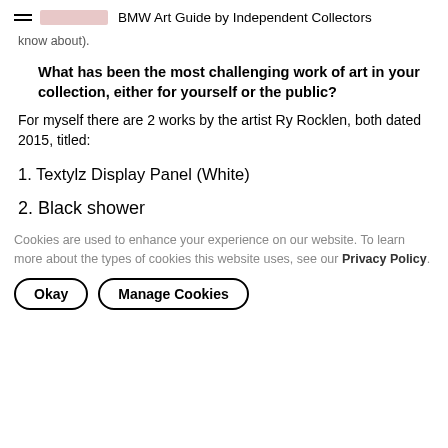BMW Art Guide by Independent Collectors
know about).
What has been the most challenging work of art in your collection, either for yourself or the public?
For myself there are 2 works by the artist Ry Rocklen, both dated 2015, titled:
1. Textylz Display Panel (White)
2. Black shower
Cookies are used to enhance your experience on our website. To learn more about the types of cookies this website uses, see our Privacy Policy.
Okay   Manage Cookies